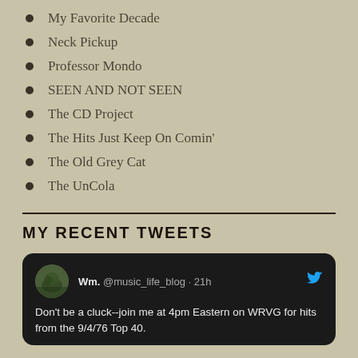My Favorite Decade
Neck Pickup
Professor Mondo
SEEN AND NOT SEEN
The CD Project
The Hits Just Keep On Comin'
The Old Grey Cat
The UnCola
MY RECENT TWEETS
Wm. @music_life_blog · 21h
Don't be a cluck--join me at 4pm Eastern on WRVG for hits from the 9/4/76 Top 40.